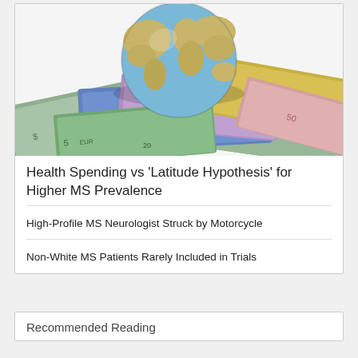[Figure (photo): Globe placed on top of various international currency banknotes including US dollars, Euros, and Australian dollars]
Health Spending vs 'Latitude Hypothesis' for Higher MS Prevalence
High-Profile MS Neurologist Struck by Motorcycle
Non-White MS Patients Rarely Included in Trials
Recommended Reading